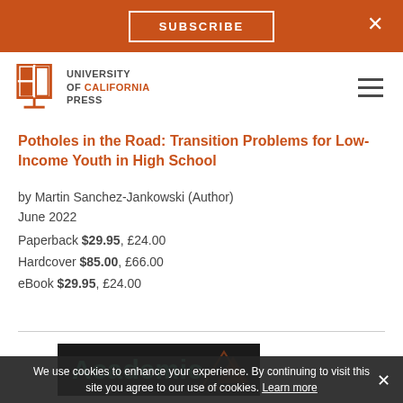SUBSCRIBE
[Figure (logo): University of California Press logo with stylized open book icon]
Potholes in the Road: Transition Problems for Low-Income Youth in High School
by Martin Sanchez-Jankowski (Author)
June 2022
Paperback $29.95, £24.00
Hardcover $85.00, £66.00
eBook $29.95, £24.00
[Figure (screenshot): Academic banner image with dark background and teal 'Academic' text]
We use cookies to enhance your experience. By continuing to visit this site you agree to our use of cookies. Learn more